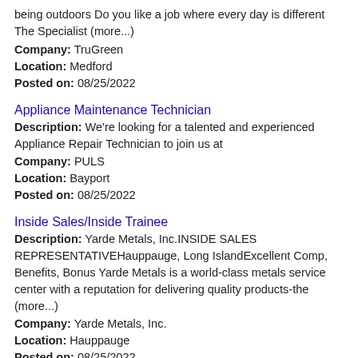being outdoors Do you like a job where every day is different The Specialist (more...)
Company: TruGreen
Location: Medford
Posted on: 08/25/2022
Appliance Maintenance Technician
Description: We're looking for a talented and experienced Appliance Repair Technician to join us at
Company: PULS
Location: Bayport
Posted on: 08/25/2022
Inside Sales/Inside Trainee
Description: Yarde Metals, Inc.INSIDE SALES REPRESENTATIVEHauppauge, Long IslandExcellent Comp, Benefits, Bonus Yarde Metals is a world-class metals service center with a reputation for delivering quality products-the (more...)
Company: Yarde Metals, Inc.
Location: Hauppauge
Posted on: 08/25/2022
Salary in Stamford, Connecticut Area | More details for Stamford, Connecticut Jobs |Salary